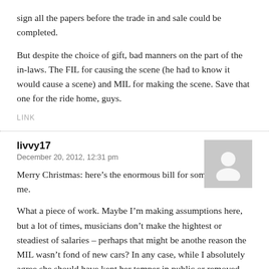sign all the papers before the trade in and sale could be completed.
But despite the choice of gift, bad manners on the part of the in-laws. The FIL for causing the scene (he had to know it would cause a scene) and MIL for making the scene. Save that one for the ride home, guys.
LINK
livvy17
December 20, 2012, 12:31 pm
Merry Christmas: here’s the enormous bill for something for me.
What a piece of work. Maybe I’m making assumptions here, but a lot of times, musicians don’t make the hightest or steadiest of salaries – perhaps that might be anothe reason the MIL wasn’t fond of new cars? In any case, while I absolutely agree she should have kept her temper in public or removed herself from the situation, I too would consider FIL’s selfishness